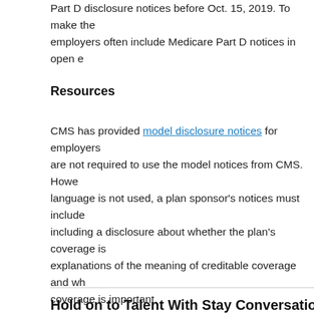Part D disclosure notices before Oct. 15, 2019. To make the employers often include Medicare Part D notices in open e
Resources
CMS has provided model disclosure notices for employers are not required to use the model notices from CMS. Howe language is not used, a plan sponsor’s notices must include including a disclosure about whether the plan’s coverage is explanations of the meaning of creditable coverage and wh coverage is important.
Hold on to Talent With Stay Conversations
Some people think employment is all about the money, but they’re wrong. For many, it’s about the opportunities.
In fact, Gallup cites “lack of development
[Figure (photo): Photo of a person, partially visible on the right side of the page]